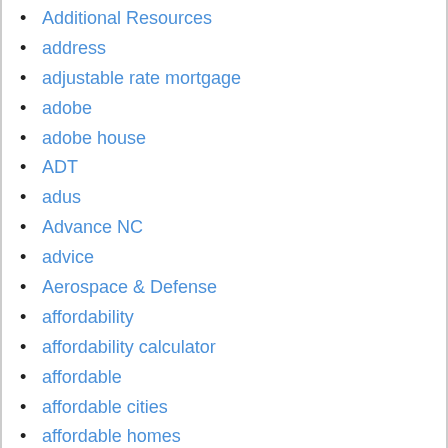Additional Resources
address
adjustable rate mortgage
adobe
adobe house
ADT
adus
Advance NC
advice
Aerospace & Defense
affordability
affordability calculator
affordable
affordable cities
affordable homes
affordable housing
affordable rent
affording a home
after buying a house